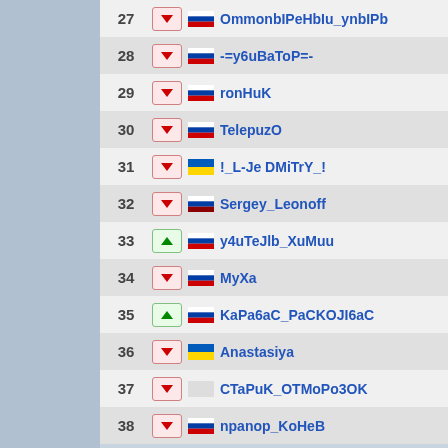27 OmmonbIPeHbIu_ynbIPb
28 -=y6uBaToP=-
29 ronHuK
30 TelepuzO
31 !_L-Je DMiTrY_!
32 Sergey_Leonoff
33 y4uTeJlb_XuMuu
34 MyXa
35 KaPa6aC_PaCKOJI6aC
36 Anastasiya
37 CTaPuK_OTMoPo3OK
38 npanop_KoHeB